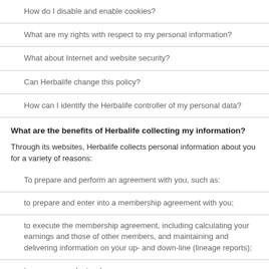How do I disable and enable cookies?
What are my rights with respect to my personal information?
What about Internet and website security?
Can Herbalife change this policy?
How can I identify the Herbalife controller of my personal data?
What are the benefits of Herbalife collecting my information?
Through its websites, Herbalife collects personal information about you for a variety of reasons:
To prepare and perform an agreement with you, such as:
to prepare and enter into a membership agreement with you;
to execute the membership agreement, including calculating your earnings and those of other members, and maintaining and delivering information on your up- and down-line (lineage reports);
to process product orders;
to deliver and take-back products and to manage warranties; and
for payment purposes.